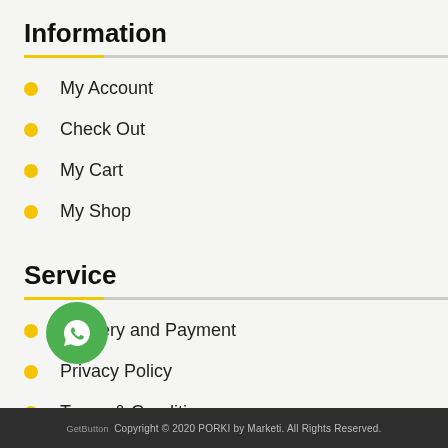Information
My Account
Check Out
My Cart
My Shop
Service
Delivery and Payment
Privacy Policy
Terms & Conditions
[Figure (illustration): WhatsApp contact button - green circle with WhatsApp logo]
Copyright © 2020 PORKI by Marketi. All Rights Reserved.